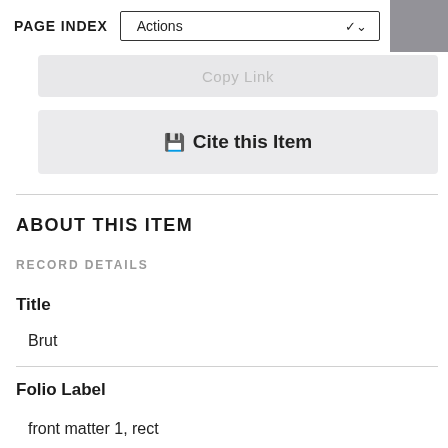PAGE INDEX  Actions
Copy Link
Cite this Item
ABOUT THIS ITEM
RECORD DETAILS
Title
Brut
Folio Label
front matter 1, rect